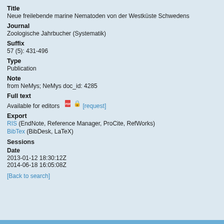Title
Neue freilebende marine Nematoden von der Westküste Schwedens
Journal
Zoologische Jahrbucher (Systematik)
Suffix
57 (5): 431-496
Type
Publication
Note
from NeMys; NeMys doc_id: 4285
Full text
Available for editors  [request]
Export
RIS (EndNote, Reference Manager, ProCite, RefWorks)
BibTex (BibDesk, LaTeX)
Sessions
Date
2013-01-12 18:30:12Z
2014-06-18 16:05:08Z
[Back to search]